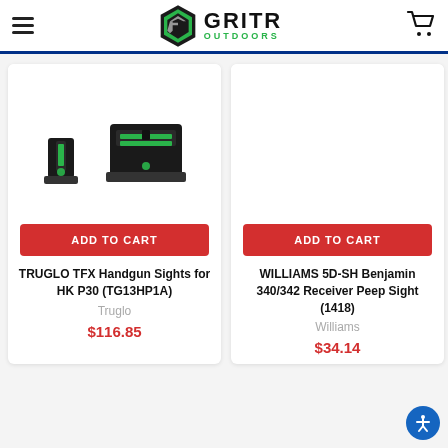GRITR OUTDOORS
[Figure (photo): TRUGLO TFX handgun fiber optic sights for HK P30 — front and rear sight components shown on white background]
ADD TO CART
TRUGLO TFX Handgun Sights for HK P30 (TG13HP1A)
Truglo
$116.85
[Figure (photo): WILLIAMS 5D-SH Benjamin 340/342 Receiver Peep Sight — product image area (white/blank)]
ADD TO CART
WILLIAMS 5D-SH Benjamin 340/342 Receiver Peep Sight (1418)
Williams
$34.14